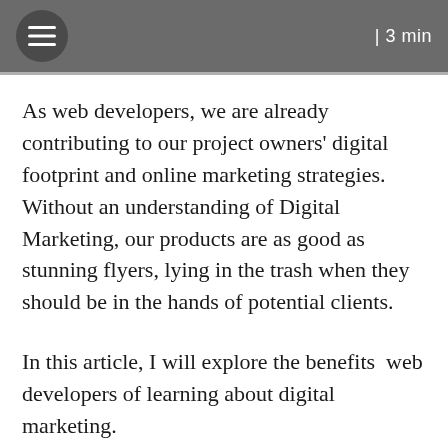| 3 min
As web developers, we are already contributing to our project owners' digital footprint and online marketing strategies. Without an understanding of Digital Marketing, our products are as good as stunning flyers, lying in the trash when they should be in the hands of potential clients.
In this article, I will explore the benefits  web developers of learning about digital marketing.